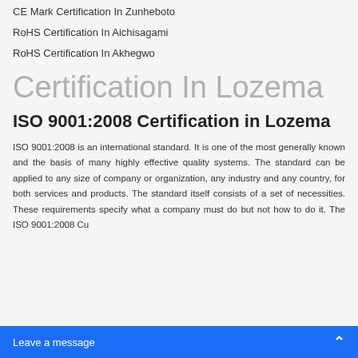CE Mark Certification In Zunheboto
RoHS Certification In Aichisagami
RoHS Certification In Akhegwo
Certification In Lozema
ISO 9001:2008 Certification in Lozema
ISO 9001:2008 is an international standard. It is one of the most generally known and the basis of many highly effective quality systems. The standard can be applied to any size of company or organization, any industry and any country, for both services and products. The standard itself consists of a set of necessities. These requirements specify what a company must do but not how to do it. The ISO 9001:2008 Cu...
Leave a message